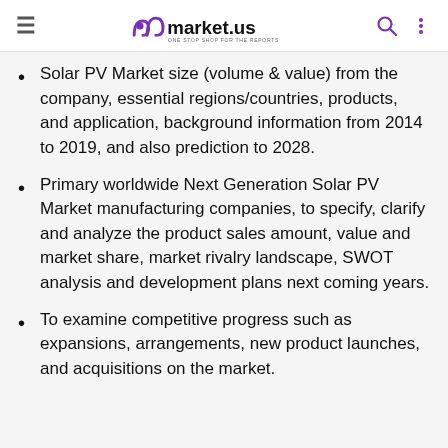market.us — ONE STOP SHOP FOR THE REPORTS
Solar PV Market size (volume & value) from the company, essential regions/countries, products, and application, background information from 2014 to 2019, and also prediction to 2028.
Primary worldwide Next Generation Solar PV Market manufacturing companies, to specify, clarify and analyze the product sales amount, value and market share, market rivalry landscape, SWOT analysis and development plans next coming years.
To examine competitive progress such as expansions, arrangements, new product launches, and acquisitions on the market.